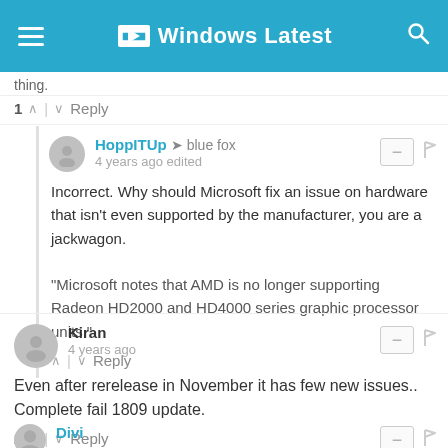Windows Latest
thing.
1 ^ | v Reply
HoppITUp → blue fox
4 years ago edited

Incorrect. Why should Microsoft fix an issue on hardware that isn't even supported by the manufacturer, you are a jackwagon.

"Microsoft notes that AMD is no longer supporting Radeon HD2000 and HD4000 series graphic processor units."
^ | v Reply
Kiran
4 years ago

Even after rerelease in November it has few new issues.. Complete fail 1809 update.
2 ^ | v Reply
Divi